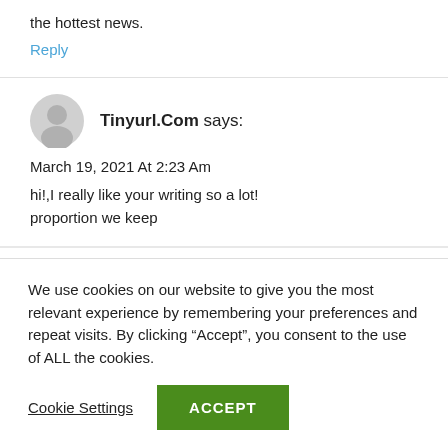the hottest news.
Reply
Tinyurl.Com says:
March 19, 2021 At 2:23 Am
hi!,I really like your writing so a lot! proportion we keep
We use cookies on our website to give you the most relevant experience by remembering your preferences and repeat visits. By clicking “Accept”, you consent to the use of ALL the cookies.
Cookie Settings
ACCEPT